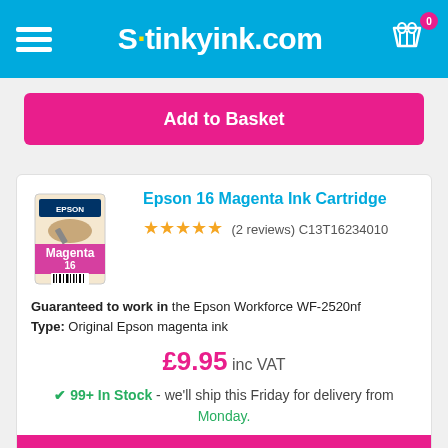StinkyInk.com
Add to Basket
Epson 16 Magenta Ink Cartridge
(2 reviews) C13T16234010
Guaranteed to work in the Epson Workforce WF-2520nf
Type: Original Epson magenta ink
£9.95 inc VAT
✔ 99+ In Stock - we'll ship this Friday for delivery from Monday.
Add to Basket